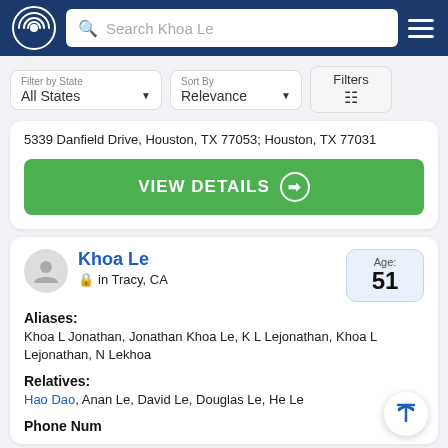Search Khoa Le
Filter by State: All States | Sort By: Relevance | Filters
5339 Danfield Drive, Houston, TX 77053; Houston, TX 77031
VIEW DETAILS →
Khoa Le
in Tracy, CA
Age: 51
Aliases:
Khoa L Jonathan, Jonathan Khoa Le, K L Lejonathan, Khoa L Lejonathan, N Lekhoa
Relatives:
Hao Dao, Anan Le, David Le, Douglas Le, He Le
Phone Numbers